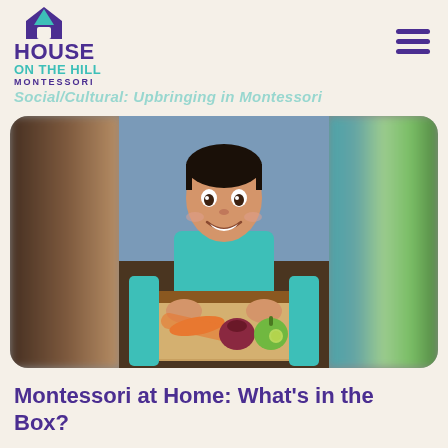[Figure (logo): House on the Hill Montessori logo with house icon in purple and teal]
Social/Cultural: Upbringing in Montessori
[Figure (photo): A smiling young Asian boy holding a cardboard box containing vegetables including carrots, a red onion, and a green apple, wearing a teal shirt. Side edges of the image are blurred.]
Montessori at Home: What's in the Box?